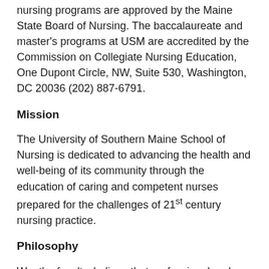nursing programs are approved by the Maine State Board of Nursing. The baccalaureate and master's programs at USM are accredited by the Commission on Collegiate Nursing Education, One Dupont Circle, NW, Suite 530, Washington, DC 20036 (202) 887-6791.
Mission
The University of Southern Maine School of Nursing is dedicated to advancing the health and well-being of its community through the education of caring and competent nurses prepared for the challenges of 21st century nursing practice.
Philosophy
We, the faculty, believe that professional and safe nursing practice is at the intersection of clinical